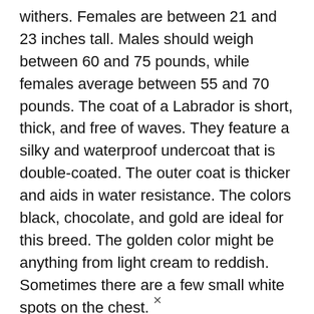withers. Females are between 21 and 23 inches tall. Males should weigh between 60 and 75 pounds, while females average between 55 and 70 pounds. The coat of a Labrador is short, thick, and free of waves. They feature a silky and waterproof undercoat that is double-coated. The outer coat is thicker and aids in water resistance. The colors black, chocolate, and gold are ideal for this breed. The golden color might be anything from light cream to reddish. Sometimes there are a few small white spots on the chest.